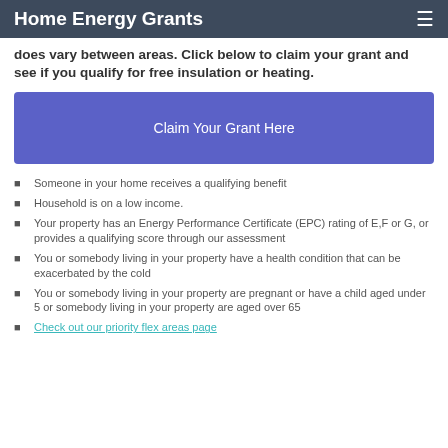Home Energy Grants
does vary between areas. Click below to claim your grant and see if you qualify for free insulation or heating.
[Figure (other): Button labelled 'Claim Your Grant Here' with purple/blue background]
Someone in your home receives a qualifying benefit
Household is on a low income.
Your property has an Energy Performance Certificate (EPC) rating of E,F or G, or provides a qualifying score through our assessment
You or somebody living in your property have a health condition that can be exacerbated by the cold
You or somebody living in your property are pregnant or have a child aged under 5 or somebody living in your property are aged over 65
Check out our priority flex areas page